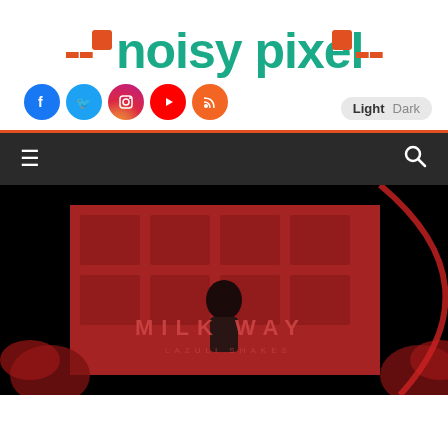[Figure (logo): Noisy Pixel website logo with teal text and orange/red pixel accent squares]
[Figure (infographic): Row of social media icons: Facebook (blue), Twitter (blue), Instagram (gradient), YouTube (red), RSS (orange)]
Light  Dark
[Figure (infographic): Dark navigation bar with hamburger menu icon on left and search icon on right, with orange/red top border]
[Figure (photo): Article header image showing anime-style illustration with red neon building and text 'MILK WAY LAZULI SHAKES', dark background with palm trees]